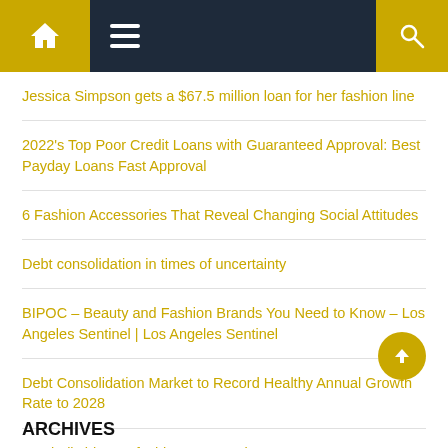Navigation bar with home, menu, and search icons
Jessica Simpson gets a $67.5 million loan for her fashion line
2022's Top Poor Credit Loans with Guaranteed Approval: Best Payday Loans Fast Approval
6 Fashion Accessories That Reveal Changing Social Attitudes
Debt consolidation in times of uncertainty
BIPOC – Beauty and Fashion Brands You Need to Know – Los Angeles Sentinel | Los Angeles Sentinel
Debt Consolidation Market to Record Healthy Annual Growth Rate to 2028
Football shirts as fashion accessories
ARCHIVES